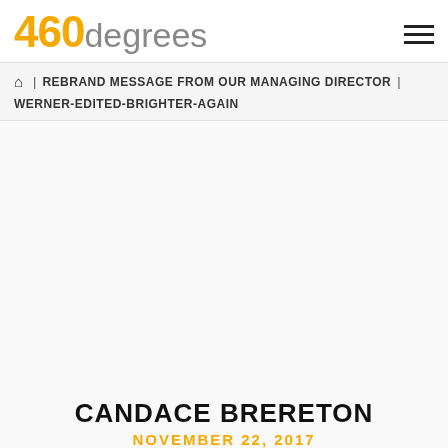460degrees
🏠 | REBRAND MESSAGE FROM OUR MANAGING DIRECTOR | WERNER-EDITED-BRIGHTER-AGAIN
CANDACE BRERETON
NOVEMBER 22, 2017